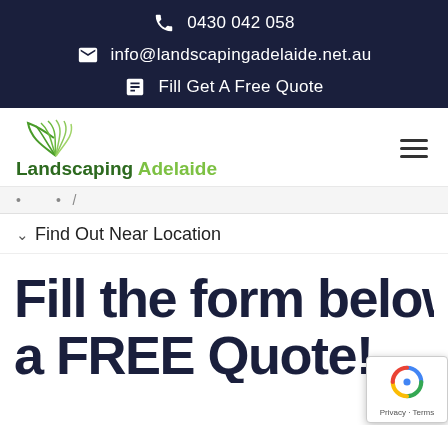0430 042 058
info@landscapingadelaide.net.au
Fill Get A Free Quote
[Figure (logo): Landscaping Adelaide logo with green leaf icon and text 'Landscaping Adelaide']
Find Out Near Location
Fill the form below for a FREE Quote!